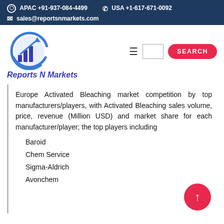APAC +91-937-084-4499   USA +1-617-671-0092   sales@reportsnmarkets.com
[Figure (logo): Reports N Markets logo with bar chart and arrow icon in blue circle, with text 'Reports N Markets' in blue italic below]
Europe Activated Bleaching market competition by top manufacturers/players, with Activated Bleaching sales volume, price, revenue (Million USD) and market share for each manufacturer/player; the top players including
Baroid
Chem Service
Sigma-Aldrich
Avonchem